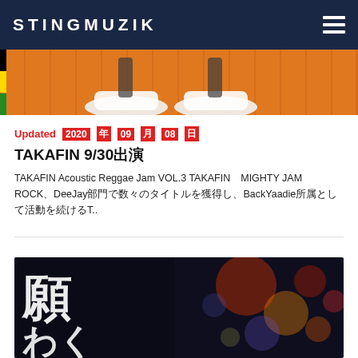STINGMUZIK
[Figure (photo): Orange/amber background banner image showing sneakers/shoes from below, with vertical stripe pattern]
Updated  2020年09月08日
TAKAFIN 9/30出演
TAKAFIN Acoustic Reggae Jam VOL.3 TAKAFIN　MIGHTY JAM ROCK、DeeJay部門で数々のタイトルを獲得し、BackYaadie所属として活動を続けるT..
[Figure (photo): Dark urban night scene with Japanese kanji characters 願、わく、げ on the left side in white, and blurred colorful bokeh lights (neon signs) on the right side]